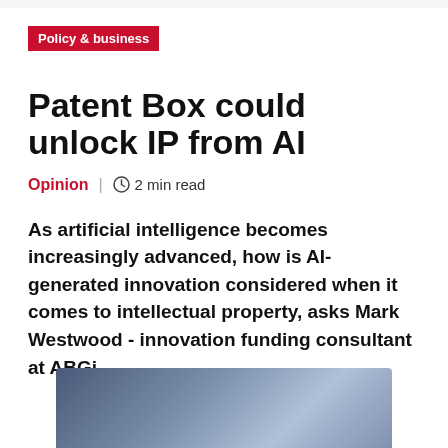Policy & business
Patent Box could unlock IP from AI
Opinion | 2 min read
As artificial intelligence becomes increasingly advanced, how is AI-generated innovation considered when it comes to intellectual property, asks Mark Westwood - innovation funding consultant at ABGi.
[Figure (photo): Dark blue gradient background image, partial view at bottom of page]